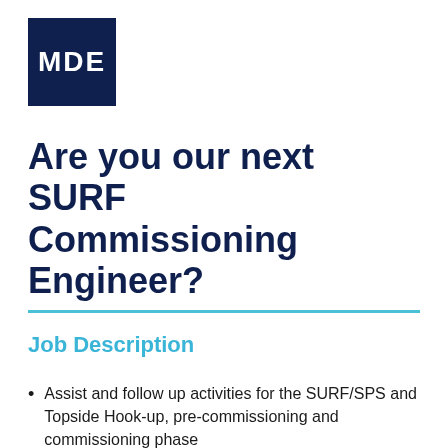[Figure (logo): MDE company logo: dark navy blue square with white bold text 'MDE']
Are you our next SURF Commissioning Engineer?
Job Description
Assist and follow up activities for the SURF/SPS and Topside Hook-up, pre-commissioning and commissioning phase